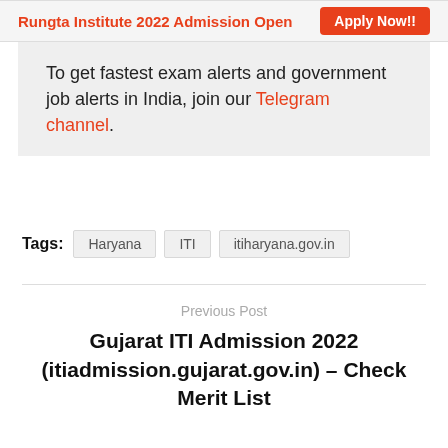Rungta Institute 2022 Admission Open  Apply Now!!
To get fastest exam alerts and government job alerts in India, join our Telegram channel.
Tags: Haryana  ITI  itiharyana.gov.in
Previous Post
Gujarat ITI Admission 2022 (itiadmission.gujarat.gov.in) – Check Merit List